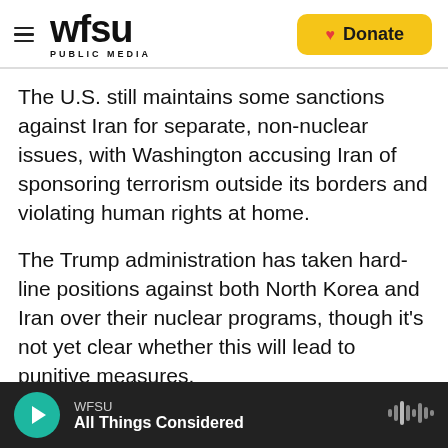WFSU PUBLIC MEDIA | Donate
The U.S. still maintains some sanctions against Iran for separate, non-nuclear issues, with Washington accusing Iran of sponsoring terrorism outside its borders and violating human rights at home.
The Trump administration has taken hard-line positions against both North Korea and Iran over their nuclear programs, though it's not yet clear whether this will lead to punitive measures.
In the latest sign of U.S.-Iranian tensions, U.S. Defense Secretary James Mattis, who was in Saudi
WFSU — All Things Considered